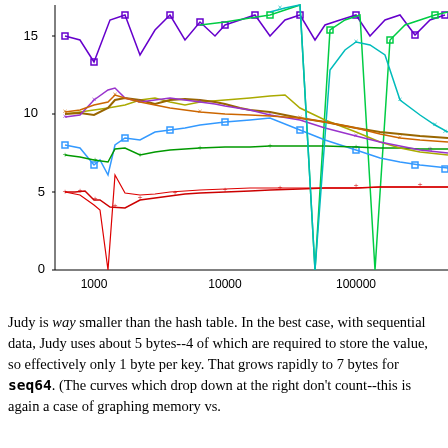[Figure (continuous-plot): Multi-series line chart on a log x-axis showing bytes per key vs. number of keys. Multiple colored lines with markers (purple squares, red crosses, orange/brown line, blue squares, green pluses, yellow line, cyan/green line, purple x-marks). Y-axis labeled 0 to 15+. X-axis labeled 1000, 10000, 100000 (log scale). Lines generally trend downward from left to right, with some spikes near x=1000.]
Judy is way smaller than the hash table. In the best case, with sequential data, Judy uses about 5 bytes--4 of which are required to store the value, so effectively only 1 byte per key. That grows rapidly to 7 bytes for seq64. (The curves which drop down at the right don't count--this is again a case of graphing memory vs.